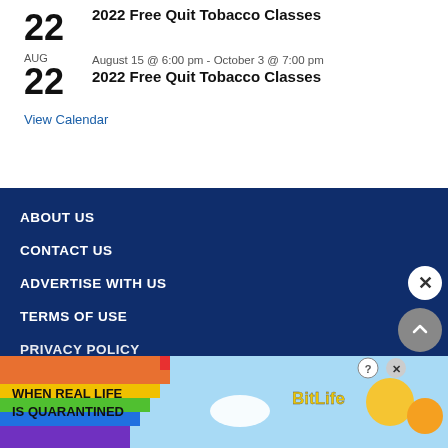AUG 22 — 2022 Free Quit Tobacco Classes
AUG 22 — August 15 @ 6:00 pm - October 3 @ 7:00 pm — 2022 Free Quit Tobacco Classes
View Calendar
ABOUT US
CONTACT US
ADVERTISE WITH US
TERMS OF USE
PRIVACY POLICY
[Figure (screenshot): Advertisement banner for BitLife game — rainbow background, text 'WHEN REAL LIFE IS QUARANTINED' with BitLife logo and emoji graphics, close button X in corner]